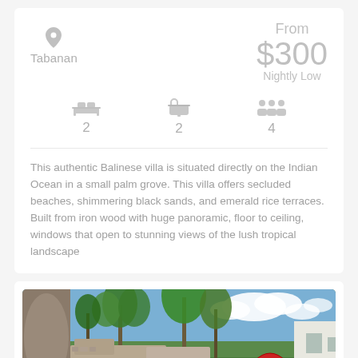Tabanan
From
$300
Nightly Low
2
2
4
This authentic Balinese villa is situated directly on the Indian Ocean in a small palm grove. This villa offers secluded beaches, shimmering black sands, and emerald rice terraces. Built from iron wood with huge panoramic, floor to ceiling, windows that open to stunning views of the lush tropical landscape
[Figure (photo): Outdoor view of a Balinese villa with tropical trees, palm trees, a red umbrella, white building structure, blue sky with clouds.]